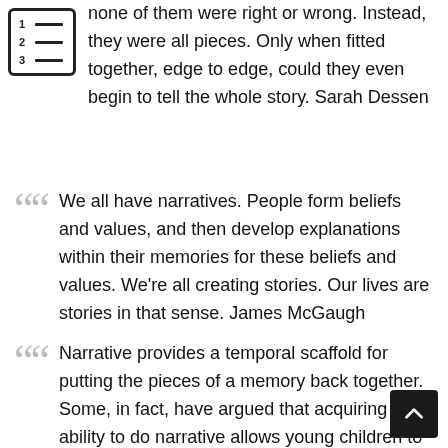[Figure (other): Numbered list icon: a box with border containing rows with numbers 1, 2, 3 and horizontal lines]
none of them were right or wrong. Instead, they were all pieces. Only when fitted together, edge to edge, could they even begin to tell the whole story. Sarah Dessen
We all have narratives. People form beliefs and values, and then develop explanations within their memories for these beliefs and values. We're all creating stories. Our lives are stories in that sense. James McGaugh
Narrative provides a temporal scaffold for putting the pieces of a memory back together. Some, in fact, have argued that acquiring the ability to do narrative allows young children to begin to tell stories about their pasts, explaining why, in adulthood, our very early